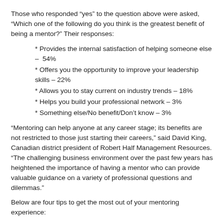Those who responded “yes” to the question above were asked, “Which one of the following do you think is the greatest benefit of being a mentor?” Their responses:
* Provides the internal satisfaction of helping someone else – 54%
* Offers you the opportunity to improve your leadership skills – 22%
* Allows you to stay current on industry trends – 18%
* Helps you build your professional network – 3%
* Something else/No benefit/Don’t know – 3%
“Mentoring can help anyone at any career stage; its benefits are not restricted to those just starting their careers,” said David King, Canadian district president of Robert Half Management Resources. “The challenging business environment over the past few years has heightened the importance of having a mentor who can provide valuable guidance on a variety of professional questions and dilemmas.”
Below are four tips to get the most out of your mentoring experience:
– Consider your strengths. What are the most valuable things you’ve learned over the course of your career? Think about what you have to offer someone just starting out.
– Don’t rely on a formal program. Many companies don’t have established mentoring programs, and those that do may still be ramping up after scaling back during the downturn. If you identify someone you think you can help, extend the offer.